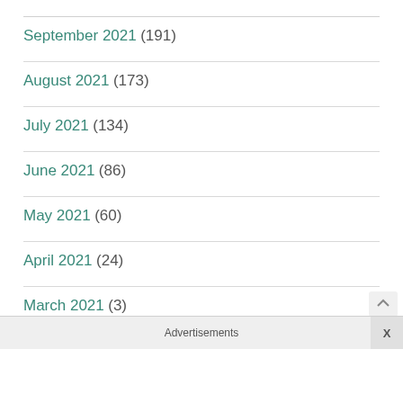September 2021 (191)
August 2021 (173)
July 2021 (134)
June 2021 (86)
May 2021 (60)
April 2021 (24)
March 2021 (3)
Advertisements